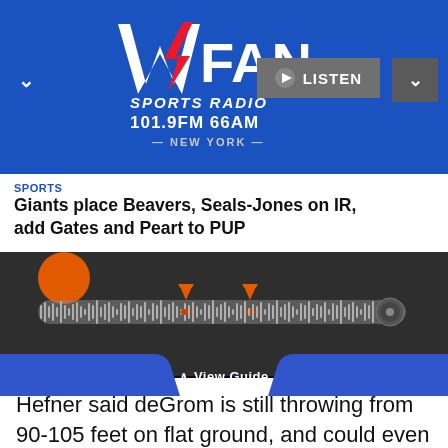[Figure (logo): WFAN Sports Radio 101.9FM 66AM New York logo on blue background with LISTEN button and chevron controls]
SPORTS
Giants place Beavers, Seals-Jones on IR, add Gates and Peart to PUP
[Figure (screenshot): Audio waveform player with orange markers on dark grey background, orange circle top-left, circular control button on right]
Hefner said deGrom is still throwing from 90-105 feet on flat ground, and could even start throwing
[Figure (infographic): View Guide button and bottom media controls with rewind 15, play, and forward 15 buttons on dark navy background]